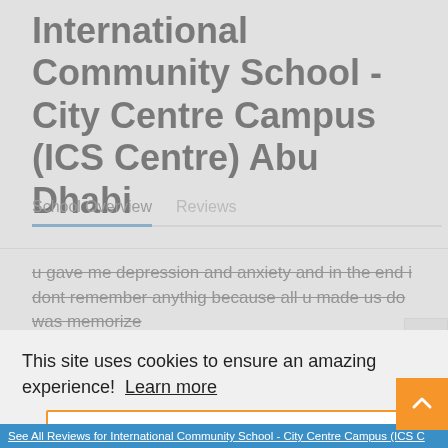International Community School - City Centre Campus (ICS Centre) Abu Dhabi
School Overview    Reviews
u gave me depression and anxiety and in the end i dont remember anythig because all u made us do was memorize
This site uses cookies to ensure an amazing experience!  Learn more
Got it!
See All Reviews for International Community School - City Centre Campus (ICS C